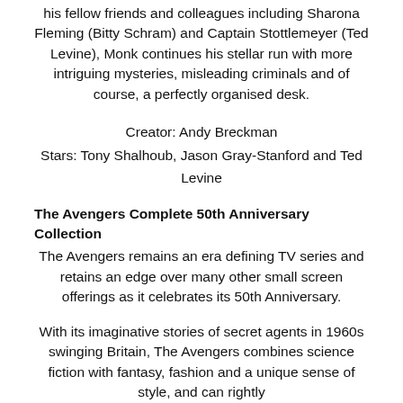his fellow friends and colleagues including Sharona Fleming (Bitty Schram) and Captain Stottlemeyer (Ted Levine), Monk continues his stellar run with more intriguing mysteries, misleading criminals and of course, a perfectly organised desk.
Creator: Andy Breckman
Stars: Tony Shalhoub, Jason Gray-Stanford and Ted Levine
The Avengers Complete 50th Anniversary Collection
The Avengers remains an era defining TV series and retains an edge over many other small screen offerings as it celebrates its 50th Anniversary.
With its imaginative stories of secret agents in 1960s swinging Britain, The Avengers combines science fiction with fantasy, fashion and a unique sense of style, and can rightly